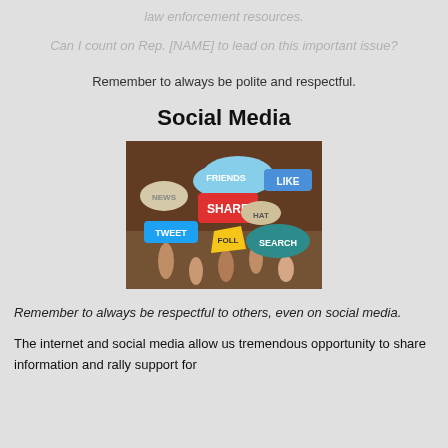law enforcement resources.
Can I count on Rep. [NAME] to lead on this important issue?
Remember to always be polite and respectful.
Social Media
[Figure (photo): People holding up colorful speech bubble signs with social media words: FRIENDS, LIKE, SHARE, TWEET, FOLLOW, SEARCH, HAT, NEWS]
Remember to always be respectful to others, even on social media.
The internet and social media allow us tremendous opportunity to share information and rally support for